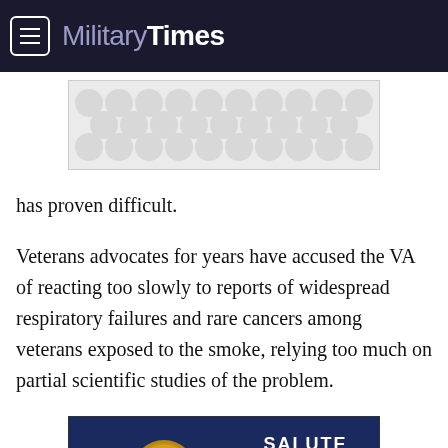Military Times
[Figure (other): Advertisement placeholder with decorative circle pattern background]
has proven difficult.
Veterans advocates for years have accused the VA of reacting too slowly to reports of widespread respiratory failures and rare cancers among veterans exposed to the smoke, relying too much on partial scientific studies of the problem.
[Figure (other): United States Mint advertisement showing gold coins with text SALUTE TO SERVICE and SHOP NOW button on dark blue background]